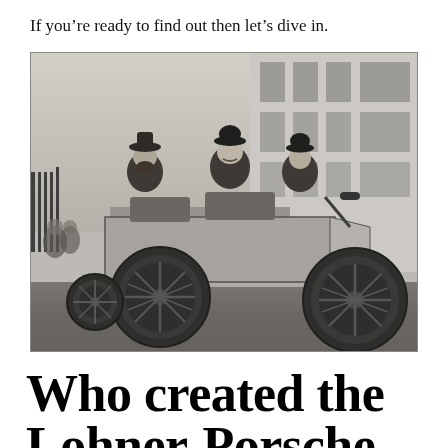If you’re ready to find out then let’s dive in.
[Figure (photo): Black and white historical photograph of three men riding an early automobile (possibly an early electric or steam car), wearing period clothing including bowler hats, taken outdoors in front of a building with iron railings.]
Who created the Lohner-Porsche